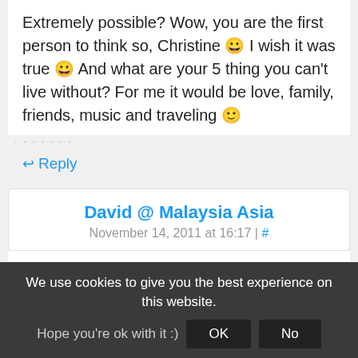Extremely possible? Wow, you are the first person to think so, Christine 😀 I wish it was true 😀 And what are your 5 thing you can't live without? For me it would be love, family, friends, music and traveling 🙂
↩ Reply
David @ Malaysia Asia
November 14, 2011 at 16:17 | #
haha Great post Alex! I still remember how we were discussing about Guys writing about their relationships or blog...
We use cookies to give you the best experience on this website. Hope you're ok with it :)